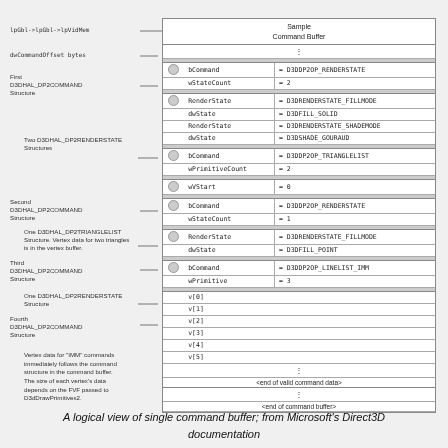[Figure (engineering-diagram): Logical view of a single Direct3D command buffer showing left-side annotation labels connected to a right-side 'Sample Command Buffer' table with fields bCommand, wStateCount, RenderState, dwState for RENDERSTATE and TRIANGLELIST commands, vertex data rows v[0]-v[5], and end markers.]
A logical view of single command buffer; from Microsoft's Direct3D documentation